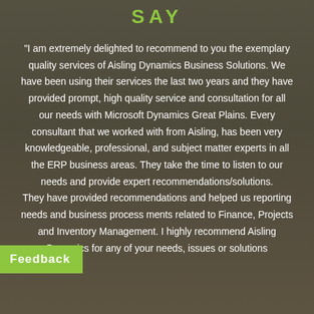SAY
"I am extremely delighted to recommend to you the exemplary quality services of Aisling Dynamics Business Solutions. We have been using their services the last two years and they have provided prompt, high quality service and consultation for all our needs with Microsoft Dynamics Great Plains. Every consultant that we worked with from Aisling, has been very knowledgeable, professional, and subject matter experts in all the ERP business areas. They take the time to listen to our needs and provide expert recommendations/solutions. They have provided recommendations and helped us reporting needs and business process ments related to Finance, Projects and Inventory Management. I highly recommend Aisling Dynamics for any of your needs, issues or solutions
Feedback